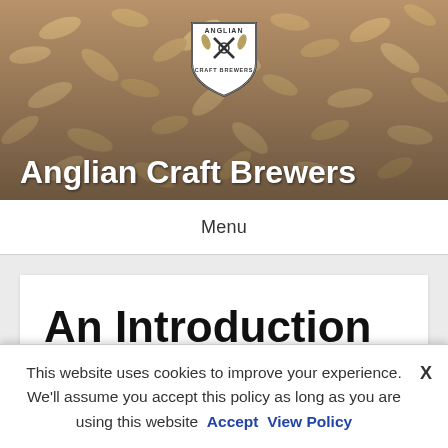[Figure (photo): Hero banner showing close-up of grain/barley seeds with warm tan and brown tones, with Anglian Craft Brewers logo centered at top and site title overlaid at bottom]
Anglian Craft Brewers
Menu
An Introduction to
This website uses cookies to improve your experience. We'll assume you accept this policy as long as you are using this website  Accept  View Policy